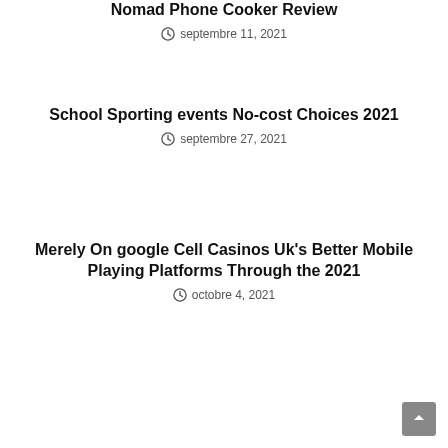Nomad Phone Cooker Review
septembre 11, 2021
School Sporting events No-cost Choices 2021
septembre 27, 2021
Merely On google Cell Casinos Uk’s Better Mobile Playing Platforms Through the 2021
octobre 4, 2021